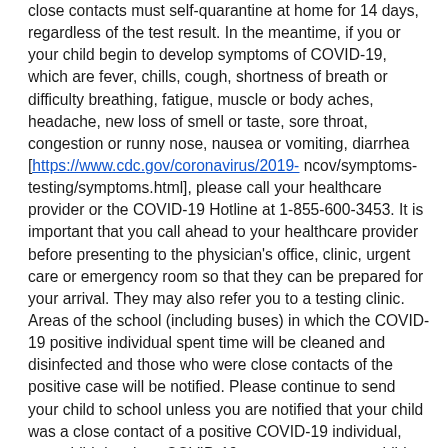close contacts must self-quarantine at home for 14 days, regardless of the test result. In the meantime, if you or your child begin to develop symptoms of COVID-19, which are fever, chills, cough, shortness of breath or difficulty breathing, fatigue, muscle or body aches, headache, new loss of smell or taste, sore throat, congestion or runny nose, nausea or vomiting, diarrhea [https://www.cdc.gov/coronavirus/2019- ncov/symptoms-testing/symptoms.html], please call your healthcare provider or the COVID-19 Hotline at 1-855-600-3453. It is important that you call ahead to your healthcare provider before presenting to the physician's office, clinic, urgent care or emergency room so that they can be prepared for your arrival. They may also refer you to a testing clinic. Areas of the school (including buses) in which the COVID-19 positive individual spent time will be cleaned and disinfected and those who were close contacts of the positive case will be notified. Please continue to send your child to school unless you are notified that your child was a close contact of a positive COVID-19 individual, your child develops COVID-19 symptoms, or your child has a positive